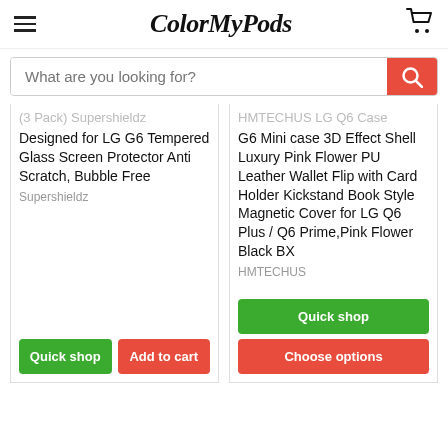ColorMyPods
What are you looking for?
(3 Pack) Supershieldz Designed for LG G6 Tempered Glass Screen Protector Anti Scratch, Bubble Free
Supershieldz
HMTECHUS LG Q6 Case G6 Mini case 3D Effect Shell Luxury Pink Flower PU Leather Wallet Flip with Card Holder Kickstand Book Style Magnetic Cover for LG Q6 Plus / Q6 Prime,Pink Flower Black BX
HMTECHUS